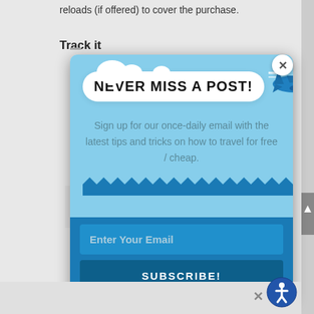reloads (if offered) to cover the purchase.
Track it
[Figure (screenshot): Email newsletter subscription modal popup with light blue background. Contains a cloud-shaped banner reading 'NEVER MISS A POST!' with an airplane illustration, tagline text, an email input field, and a SUBSCRIBE! button.]
NEVER MISS A POST!
Sign up for our once-daily email with the latest tips and tricks on how to travel for free / cheap.
Enter Your Email
SUBSCRIBE!